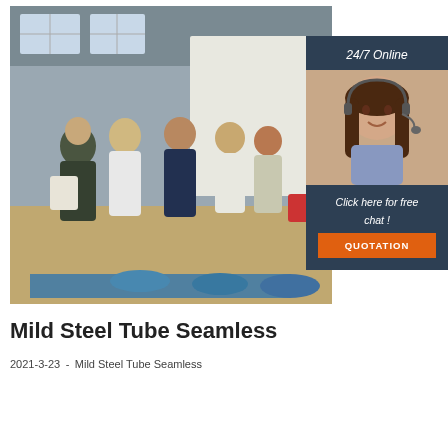[Figure (photo): Factory interior photo showing a group of people (visitors/clients and staff) standing and discussing in an industrial warehouse space. Blue cylindrical tubes visible in foreground. Overlaid with a '24/7 Online' chat widget featuring a woman with a headset, text 'Click here for free chat!', and an orange 'QUOTATION' button.]
Mild Steel Tube Seamless
2021-3-23u2002-u2002Mild Steel Tube Seamless